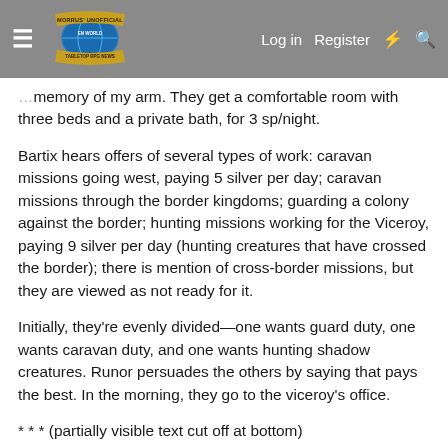Morrus' Unofficial Tabletop RPG News — Log in | Register
memory of my arm. They get a comfortable room with three beds and a private bath, for 3 sp/night.
Bartix hears offers of several types of work: caravan missions going west, paying 5 silver per day; caravan missions through the border kingdoms; guarding a colony against the border; hunting missions working for the Viceroy, paying 9 silver per day (hunting creatures that have crossed the border); there is mention of cross-border missions, but they are viewed as not ready for it.
Initially, they're evenly divided—one wants guard duty, one wants caravan duty, and one wants hunting shadow creatures. Runor persuades the others by saying that pays the best. In the morning, they go to the viceroy's office.
* * * (partial, cut off at bottom)